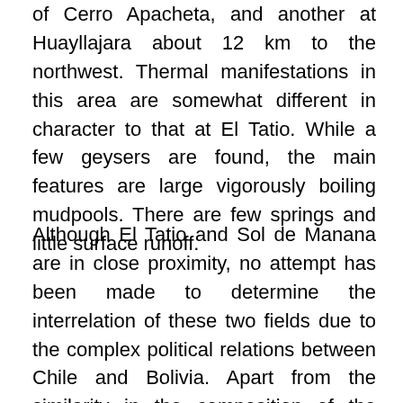of Cerro Apacheta, and another at Huayllajara about 12 km to the northwest. Thermal manifestations in this area are somewhat different in character to that at El Tatio. While a few geysers are found, the main features are large vigorously boiling mudpools. There are few springs and little surface runoff.
Although El Tatio and Sol de Manana are in close proximity, no attempt has been made to determine the interrelation of these two fields due to the complex political relations between Chile and Bolivia. Apart from the similarity in the composition of the thermal waters (H. Rosales pers. comm. 1989), they lie within about 30 km of each other along a series of recent NW-SE trending normal faults, which has suggested...